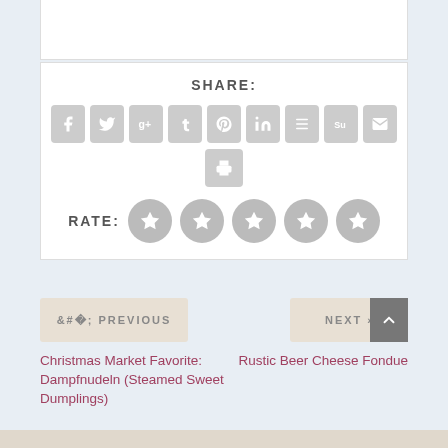SHARE:
[Figure (infographic): Social share buttons: Facebook, Twitter, Google+, Tumblr, Pinterest, LinkedIn, Buffer, StumbleUpon, Email, Print]
RATE: (5 star rating icons)
‹ PREVIOUS
NEXT ›
Christmas Market Favorite: Dampfnudeln (Steamed Sweet Dumplings)
Rustic Beer Cheese Fondue